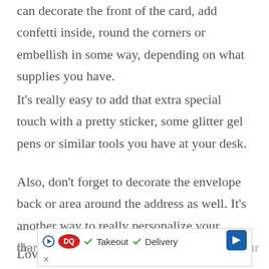can decorate the front of the card, add confetti inside, round the corners or embellish in some way, depending on what supplies you have.
It's really easy to add that extra special touch with a pretty sticker, some glitter gel pens or similar tools you have at your desk.
Also, don't forget to decorate the envelope back or area around the address as well. It's another way to really personalize your thank you card.
Love the ideas you see here on Ideas for the Hom...our
[Figure (other): Dairy Queen advertisement banner showing DQ logo, play button, checkmarks next to Takeout and Delivery text, navigation arrow, and a close X button]